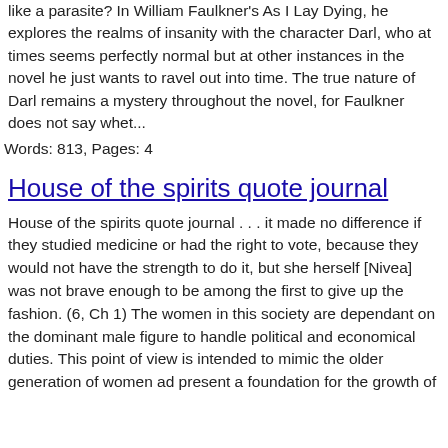like a parasite? In William Faulkner's As I Lay Dying, he explores the realms of insanity with the character Darl, who at times seems perfectly normal but at other instances in the novel he just wants to ravel out into time. The true nature of Darl remains a mystery throughout the novel, for Faulkner does not say whet...
Words: 813, Pages: 4
House of the spirits quote journal
House of the spirits quote journal . . . it made no difference if they studied medicine or had the right to vote, because they would not have the strength to do it, but she herself [Nivea] was not brave enough to be among the first to give up the fashion. (6, Ch 1) The women in this society are dependant on the dominant male figure to handle political and economical duties. This point of view is intended to mimic the older generation of women ad present a foundation for the growth of